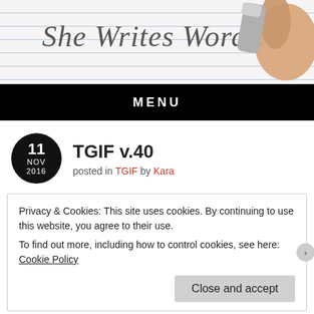[Figure (photo): Blog header image showing handwriting 'She Writes Words' on lined paper with an eraser/pen in the top right corner held by a hand]
MENU
TGIF v.40
posted in TGIF by Kara
Privacy & Cookies: This site uses cookies. By continuing to use this website, you agree to their use.
To find out more, including how to control cookies, see here: Cookie Policy
Close and accept